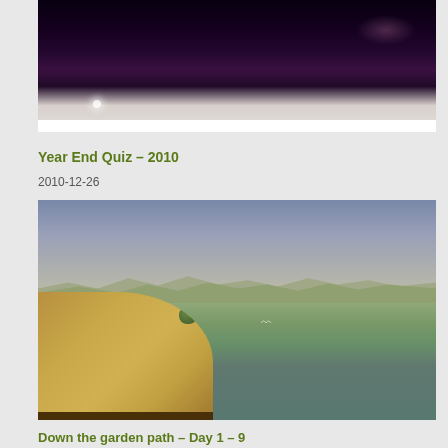[Figure (photo): Dark night sky photo with a faint light spot at the bottom left and a subtle pinkish highlight in the upper right, transitioning to a light grey strip at the bottom]
Year End Quiz – 2010
2010-12-26
[Figure (photo): Outdoor lake or reservoir scene with blue-grey sky, distant mountain ridge, green-tinted water, and a boat railing with a green object in the lower left foreground]
Down the garden path – Day 1 – 9